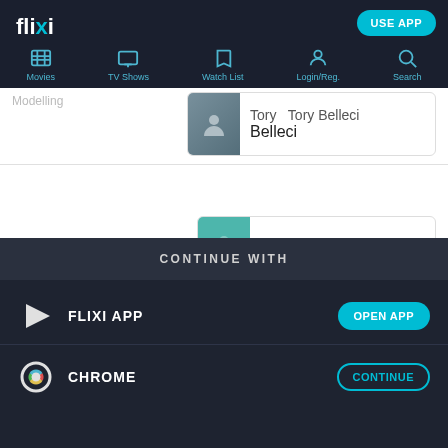flixi — Movies, TV Shows, Watch List, Login/Reg., Search — USE APP
Tory Belleci — Tory Belleci
Visual Effects Compositor — Kelly Granite
CG Animator — Rick O'Connor
Animation Supervisor — Daniel
CONTINUE WITH
FLIXI APP — OPEN APP
CHROME — CONTINUE